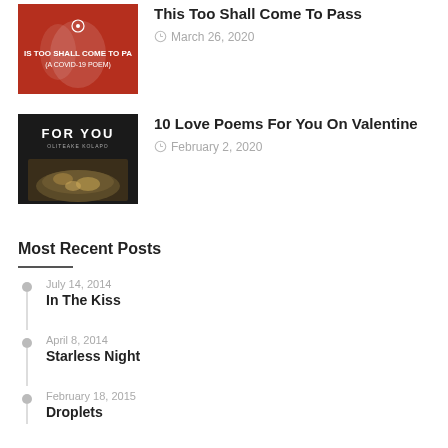[Figure (photo): Thumbnail for 'This Too Shall Come To Pass' - red background with text overlay 'IS TOO SHALL COME TO PA (A COVID-19 POEM)']
This Too Shall Come To Pass
March 26, 2020
[Figure (photo): Thumbnail for '10 Love Poems For You On Valentine' - dark background with 'FOR YOU' text and food image]
10 Love Poems For You On Valentine
February 2, 2020
Most Recent Posts
July 14, 2014
In The Kiss
April 8, 2014
Starless Night
February 18, 2015
Droplets